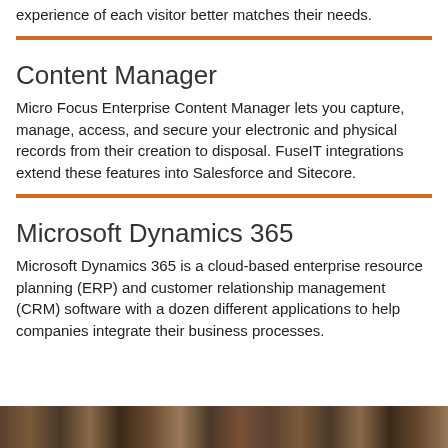experience of each visitor better matches their needs.
Content Manager
Micro Focus Enterprise Content Manager lets you capture, manage, access, and secure your electronic and physical records from their creation to disposal. FuseIT integrations extend these features into Salesforce and Sitecore.
Microsoft Dynamics 365
Microsoft Dynamics 365 is a cloud-based enterprise resource planning (ERP) and customer relationship management (CRM) software with a dozen different applications to help companies integrate their business processes.
[Figure (photo): A horizontal photo strip at the bottom of the page showing industrial or mechanical objects in dark warm tones.]